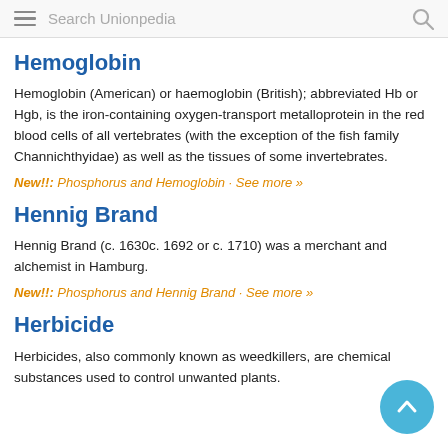Search Unionpedia
Hemoglobin
Hemoglobin (American) or haemoglobin (British); abbreviated Hb or Hgb, is the iron-containing oxygen-transport metalloprotein in the red blood cells of all vertebrates (with the exception of the fish family Channichthyidae) as well as the tissues of some invertebrates.
New!!: Phosphorus and Hemoglobin · See more »
Hennig Brand
Hennig Brand (c. 1630c. 1692 or c. 1710) was a merchant and alchemist in Hamburg.
New!!: Phosphorus and Hennig Brand · See more »
Herbicide
Herbicides, also commonly known as weedkillers, are chemical substances used to control unwanted plants.